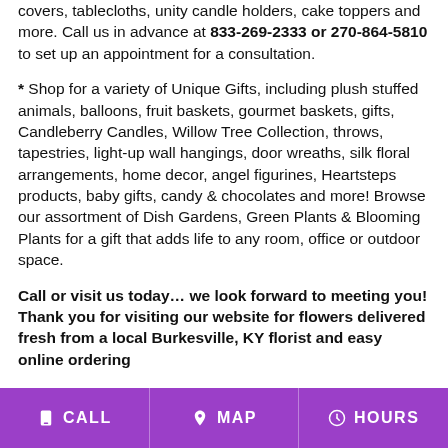covers, tablecloths, unity candle holders, cake toppers and more. Call us in advance at 833-269-2333 or 270-864-5810 to set up an appointment for a consultation.
* Shop for a variety of Unique Gifts, including plush stuffed animals, balloons, fruit baskets, gourmet baskets, gifts, Candleberry Candles, Willow Tree Collection, throws, tapestries, light-up wall hangings, door wreaths, silk floral arrangements, home decor, angel figurines, Heartsteps products, baby gifts, candy & chocolates and more! Browse our assortment of Dish Gardens, Green Plants & Blooming Plants for a gift that adds life to any room, office or outdoor space.
Call or visit us today… we look forward to meeting you! Thank you for visiting our website for flowers delivered fresh from a local Burkesville, KY florist and easy online ordering
CALL   MAP   HOURS